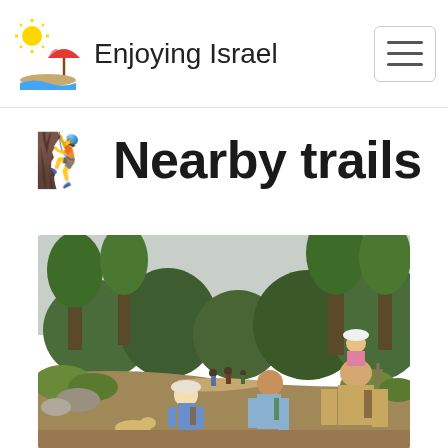Enjoying Israel
🧗 Nearby trails
[Figure (photo): Group of people including adults and children hiking along a dirt trail through a forest with green trees in the background. A person carries a child on their shoulders. Several hikers with backpacks are visible walking away from the camera.]